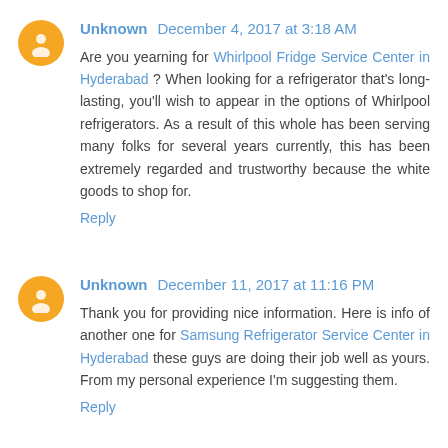Unknown December 4, 2017 at 3:18 AM
Are you yearning for Whirlpool Fridge Service Center in Hyderabad ? When looking for a refrigerator that's long-lasting, you'll wish to appear in the options of Whirlpool refrigerators. As a result of this whole has been serving many folks for several years currently, this has been extremely regarded and trustworthy because the white goods to shop for.
Reply
Unknown December 11, 2017 at 11:16 PM
Thank you for providing nice information. Here is info of another one for Samsung Refrigerator Service Center in Hyderabad these guys are doing their job well as yours. From my personal experience I'm suggesting them.
Reply